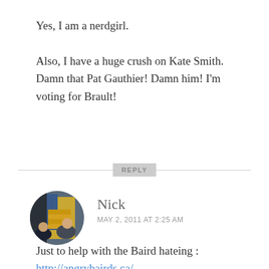Yes, I am a nerdgirl.

Also, I have a huge crush on Kate Smith. Damn that Pat Gauthier! Damn him! I’m voting for Brault!
REPLY
[Figure (photo): Circular avatar photo of user Nick, showing two people in an indoor setting]
Nick
MAY 2, 2011 AT 2:25 AM
Just to help with the Baird hateing : http://angrybairds.ca/